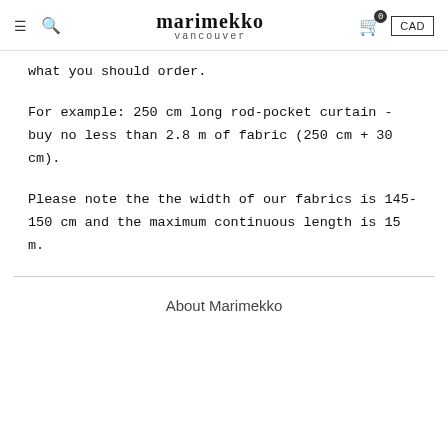marimekko vancouver
what you should order.
For example: 250 cm long rod-pocket curtain - buy no less than 2.8 m of fabric (250 cm + 30 cm).
Please note the the width of our fabrics is 145-150 cm and the maximum continuous length is 15 m.
About Marimekko